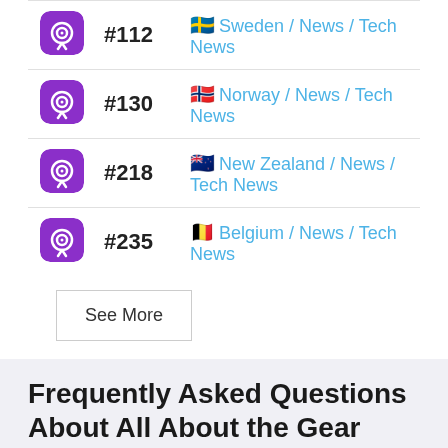| Icon | Rank | Country / Categories |
| --- | --- | --- |
| [podcast icon] | #112 | 🇸🇪 Sweden / News / Tech News |
| [podcast icon] | #130 | 🇳🇴 Norway / News / Tech News |
| [podcast icon] | #218 | 🇳🇿 New Zealand / News / Tech News |
| [podcast icon] | #235 | 🇧🇪 Belgium / News / Tech News |
See More
Frequently Asked Questions About All About the Gear
Where can I find podcast stats for All About the Gear?
Rephonic provides a wide range of data for two million podcasts so you can understand how popular each one is. See how many